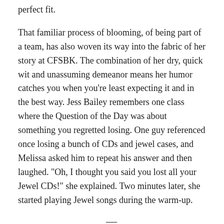perfect fit.
That familiar process of blooming, of being part of a team, has also woven its way into the fabric of her story at CFSBK. The combination of her dry, quick wit and unassuming demeanor means her humor catches you when you’re least expecting it and in the best way. Jess Bailey remembers one class where the Question of the Day was about something you regretted losing. One guy referenced once losing a bunch of CDs and jewel cases, and Melissa asked him to repeat his answer and then laughed. “Oh, I thought you said you lost all your Jewel CDs!” she explained. Two minutes later, she started playing Jewel songs during the warm-up.
—
We’re about an hour and a half into our interview, and her ceramic pot of jasmine tea and mine of decaf coffee are long dry. Suddenly, I’m not pummeling her with questions to